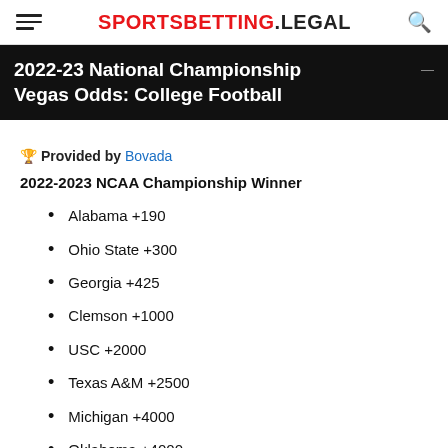SPORTSBETTING.LEGAL
2022-23 National Championship Vegas Odds: College Football
🏆 Provided by Bovada
2022-2023 NCAA Championship Winner
Alabama +190
Ohio State +300
Georgia +425
Clemson +1000
USC +2000
Texas A&M +2500
Michigan +4000
Oklahoma +4000
Notre Dame +4500
Texas +4500